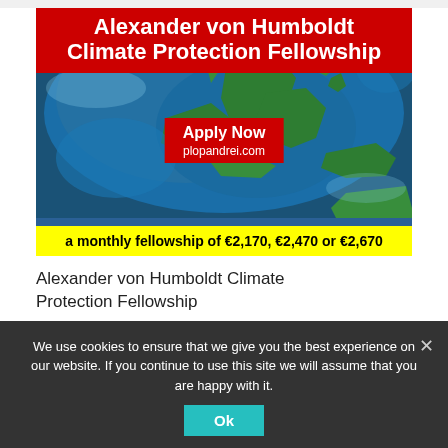[Figure (infographic): Alexander von Humboldt Climate Protection Fellowship banner with globe image, red title bar, red 'Apply Now' box with URL plopandrei.com, and yellow bar showing monthly fellowship amounts of €2,170, €2,470 or €2,670]
Alexander von Humboldt Climate Protection Fellowship
We use cookies to ensure that we give you the best experience on our website. If you continue to use this site we will assume that you are happy with it.